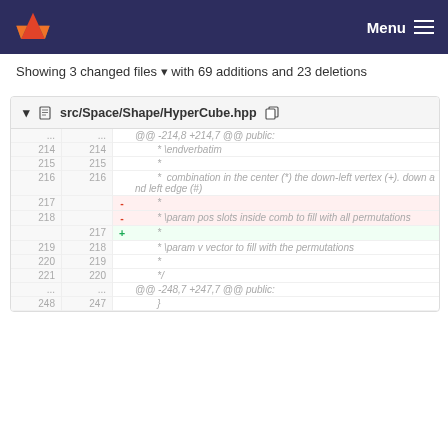Menu
Showing 3 changed files with 69 additions and 23 deletions
| old | new | op | code |
| --- | --- | --- | --- |
| ... | ... |  | @@ -214,8 +214,7 @@ public: |
| 214 | 214 |  |         * \endverbatim |
| 215 | 215 |  |         * |
| 216 | 216 |  |         *  combination in the center (*) the down-left vertex (+). down and left edge (#) |
| 217 |  | - |         * |
| 218 |  | - |         * \param pos slots inside comb to fill with all permutations |
|  | 217 | + |         * |
| 219 | 218 |  |         * \param v vector to fill with the permutations |
| 220 | 219 |  |         * |
| 221 | 220 |  |         */ |
| ... | ... |  | @@ -248,7 +247,7 @@ public: |
| 248 | 247 |  |         } |